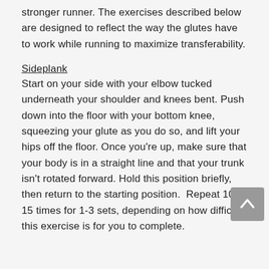stronger runner. The exercises described below are designed to reflect the way the glutes have to work while running to maximize transferability.
Sideplank
Start on your side with your elbow tucked underneath your shoulder and knees bent. Push down into the floor with your bottom knee, squeezing your glute as you do so, and lift your hips off the floor. Once you're up, make sure that your body is in a straight line and that your trunk isn't rotated forward. Hold this position briefly, then return to the starting position.  Repeat 10-15 times for 1-3 sets, depending on how difficult this exercise is for you to complete.